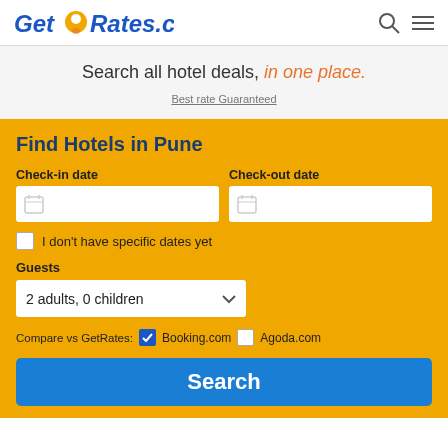GetRates.com
Search all hotel deals, in one place.
Best rate Guaranteed
Find Hotels in Pune
Check-in date
Check-out date
I don't have specific dates yet
Guests
2 adults, 0 children
Compare vs GetRates: Booking.com Agoda.com
Search